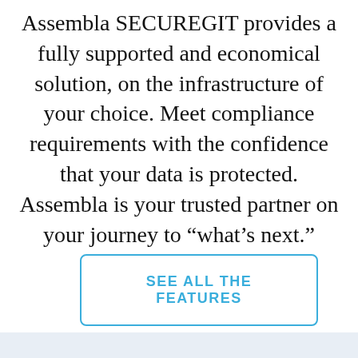Assembla SECUREGIT provides a fully supported and economical solution, on the infrastructure of your choice. Meet compliance requirements with the confidence that your data is protected. Assembla is your trusted partner on your journey to “what’s next.”
SEE ALL THE FEATURES